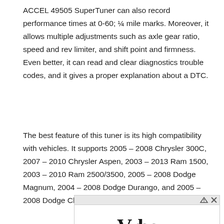ACCEL 49505 SuperTuner can also record performance times at 0-60; ¼ mile marks. Moreover, it allows multiple adjustments such as axle gear ratio, speed and rev limiter, and shift point and firmness. Even better, it can read and clear diagnostics trouble codes, and it gives a proper explanation about a DTC.
The best feature of this tuner is its high compatibility with vehicles. It supports 2005 – 2008 Chrysler 300C, 2007 – 2010 Chrysler Aspen, 2003 – 2013 Ram 1500, 2003 – 2010 Ram 2500/3500, 2005 – 2008 Dodge Magnum, 2004 – 2008 Dodge Durango, and 2005 – 2008 Dodge Charger.
[Figure (other): Vrbo advertisement banner with 'Book Now' button and tagline 'Whenever you're ready to travel, we'll be here. Please follow local travel and safety guidelines.']